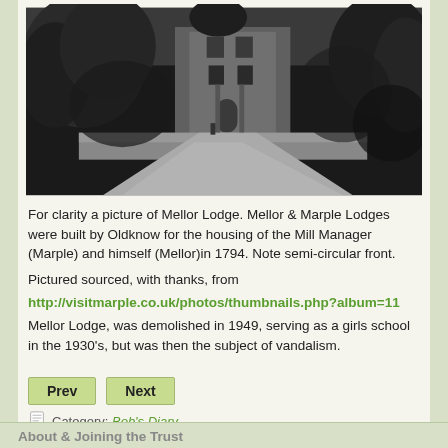[Figure (photo): Black and white photograph of Mellor Lodge, showing a stone building with ivy-covered trees and a curved driveway in front.]
For clarity a picture of Mellor Lodge. Mellor & Marple Lodges were built by Oldknow for the housing of the Mill Manager (Marple) and himself (Mellor)in 1794. Note semi-circular front.
Pictured sourced, with thanks, from
http://visitmarple.co.uk/photos/thumbnails.php?album=11
Mellor Lodge, was demolished in 1949, serving as a girls school in the 1930's, but was then the subject of vandalism.
Prev  Next
Category: Bob's Diary
About & Joining the Trust